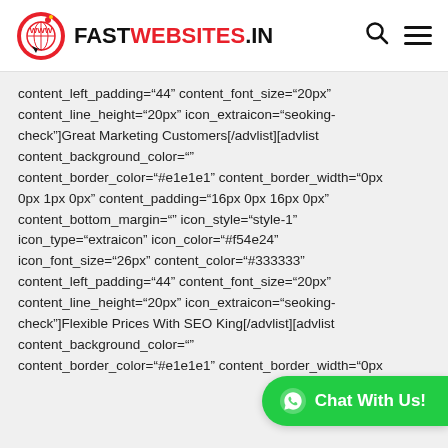FASTWEBSITES.IN
content_left_padding="44" content_font_size="20px" content_line_height="20px" icon_extraicon="seoking-check"]Great Marketing Customers[/advlist][advlist content_background_color="" content_border_color="#e1e1e1" content_border_width="0px 0px 1px 0px" content_padding="16px 0px 16px 0px" content_bottom_margin="" icon_style="style-1" icon_type="extraicon" icon_color="#f54e24" icon_font_size="26px" content_color="#333333" content_left_padding="44" content_font_size="20px" content_line_height="20px" icon_extraicon="seoking-check"]Flexible Prices With SEO King[/advlist][advlist content_background_color="" content_border_color="#e1e1e1" content_border_width="0px
[Figure (other): Green WhatsApp Chat With Us button in bottom right corner]